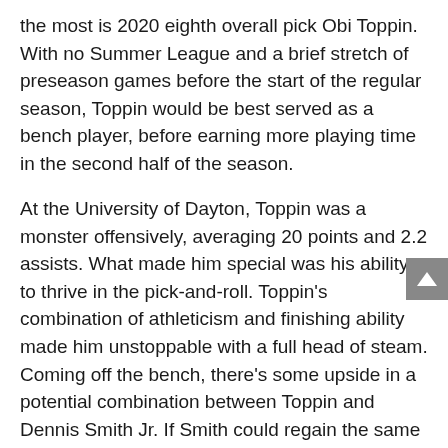the most is 2020 eighth overall pick Obi Toppin. With no Summer League and a brief stretch of preseason games before the start of the regular season, Toppin would be best served as a bench player, before earning more playing time in the second half of the season.
At the University of Dayton, Toppin was a monster offensively, averaging 20 points and 2.2 assists. What made him special was his ability to thrive in the pick-and-roll. Toppin's combination of athleticism and finishing ability made him unstoppable with a full head of steam. Coming off the bench, there's some upside in a potential combination between Toppin and Dennis Smith Jr. If Smith could regain the same bounce and ability that made him a top-10 pick four years ago, the ability to draw in defenses to leave Toppin open could be a staple in a second unit offense.